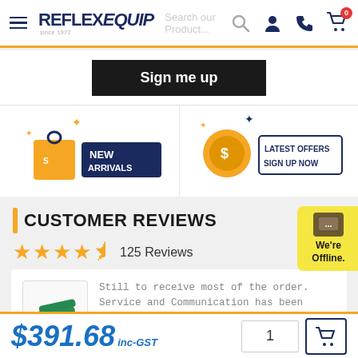REFLEX EQUIP - Navigation header with search, account, phone, and cart icons
Sign me up
[Figure (illustration): New Arrivals promotional banner with shopping bag icon and orange/navy text]
[Figure (illustration): Latest Offers Sign Up Now promotional banner with coin/dollar icon]
[Figure (illustration): We're Offline chat widget in yellow]
CUSTOMER REVIEWS
125 Reviews
Still to receive most of the order. Service and Communication has been dreadful
Shane P.
$391.68 inc-GST  1  [cart]